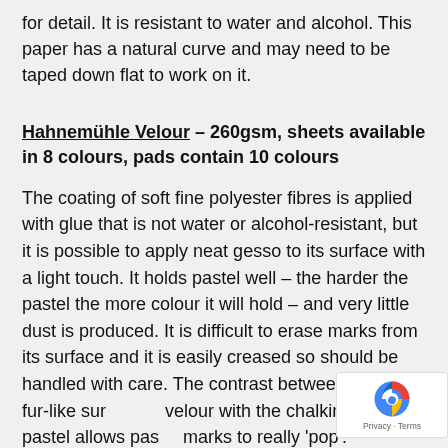for detail. It is resistant to water and alcohol. This paper has a natural curve and may need to be taped down flat to work on it.
Hahnemühle Velour – 260gsm, sheets available in 8 colours, pads contain 10 colours
The coating of soft fine polyester fibres is applied with glue that is not water or alcohol-resistant, but it is possible to apply neat gesso to its surface with a light touch. It holds pastel well – the harder the pastel the more colour it will hold – and very little dust is produced. It is difficult to erase marks from its surface and it is easily creased so should be handled with care. The contrast between the soft fur-like surface of velour with the chalkiness of pastel allows pastel marks to really 'pop'.